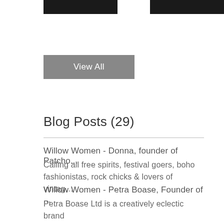[Figure (other): Two dark/black rectangular image placeholders side by side at the top of the page]
View All
Blog Posts (29)
Willow Women - Donna, founder of Patcho...
Calling all free spirits, festival goers, boho fashionistas, rock chicks & lovers of vintag…
Willow Women - Petra Boase, Founder of ...
Petra Boase Ltd is a creatively eclectic brand based in Norwich. Established in 1999 by...
Willow Women - Morag & Lesley, Founders...
Bella & Boo was founded in 2020 by mother and daughter team, Lesley and Morag....